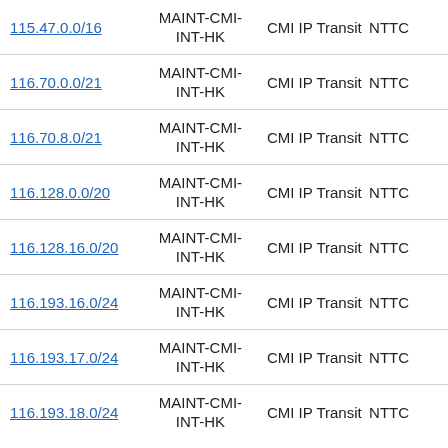| IP Range | Maintainer | Service | Provider |
| --- | --- | --- | --- |
| 115.47.0.0/16 | MAINT-CMI-INT-HK | CMI IP Transit | NTTC |
| 116.70.0.0/21 | MAINT-CMI-INT-HK | CMI IP Transit | NTTC |
| 116.70.8.0/21 | MAINT-CMI-INT-HK | CMI IP Transit | NTTC |
| 116.128.0.0/20 | MAINT-CMI-INT-HK | CMI IP Transit | NTTC |
| 116.128.16.0/20 | MAINT-CMI-INT-HK | CMI IP Transit | NTTC |
| 116.193.16.0/24 | MAINT-CMI-INT-HK | CMI IP Transit | NTTC |
| 116.193.17.0/24 | MAINT-CMI-INT-HK | CMI IP Transit | NTTC |
| 116.193.18.0/24 | MAINT-CMI-INT-HK | CMI IP Transit | NTTC |